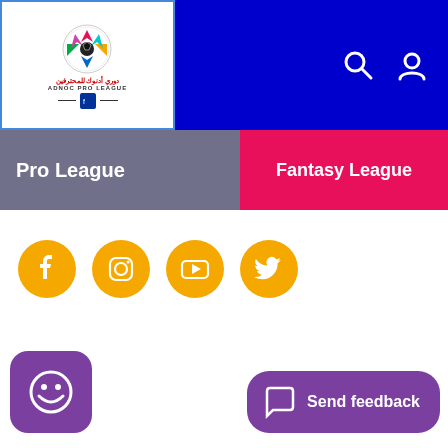[Figure (logo): ADHOC Pro League logo with colorful soccer ball and Arabic text]
Pro League
Fantasy League
[Figure (infographic): Social media icons: Facebook, Instagram, YouTube, Twitter on orange circular backgrounds]
[Figure (other): Purple emoji smiley face button bottom left]
Send feedback